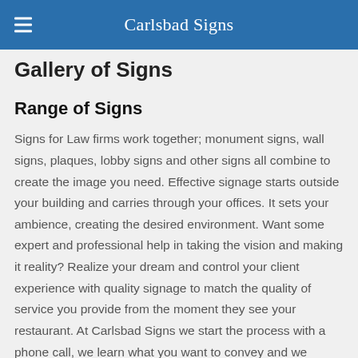Carlsbad Signs
Gallery of Signs
Range of Signs
Signs for Law firms work together; monument signs, wall signs, plaques, lobby signs and other signs all combine to create the image you need. Effective signage starts outside your building and carries through your offices. It sets your ambience, creating the desired environment. Want some expert and professional help in taking the vision and making it reality? Realize your dream and control your client experience with quality signage to match the quality of service you provide from the moment they see your restaurant. At Carlsbad Signs we start the process with a phone call, we learn what you want to convey and we create that image through signs